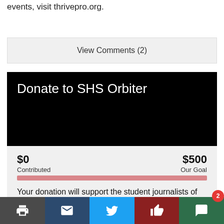events, visit thrivepro.org.
View Comments (2)
Donate to SHS Orbiter
$0 Contributed   $500 Our Goal
Your donation will support the student journalists of Streetsboro High School. Your contribution will allow us to purchase equipment and cover our